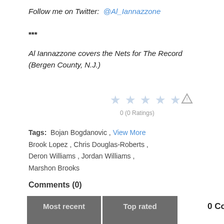Follow me on Twitter: @Al_Iannazzone
***
Al Iannazzone covers the Nets for The Record (Bergen County, N.J.)
[Figure (other): 5-star rating widget showing 0 (0 Ratings), with warning and share icons]
Tags: Bojan Bogdanovic , View More Brook Lopez , Chris Douglas-Roberts , Deron Williams , Jordan Williams , Marshon Brooks
Comments (0)
0 Comments
[Figure (other): Most recent tab button (gray)]
[Figure (other): Top rated tab button (gray)]